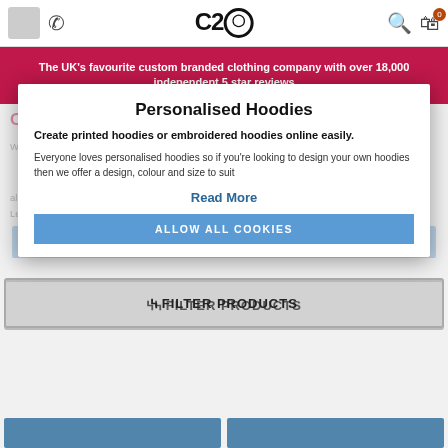C2O - navigation bar with back button, phone icon, logo, search and cart icons
The UK's favourite custom branded clothing company with over 18,000 independent 5 star reviews
Personalised Hoodies
Create printed hoodies or embroidered hoodies online easily.
Everyone loves personalised hoodies so if you're looking to design your own hoodies then we offer a design, colour and size to suit
Read More
ALLOW ALL COOKIES
⫿ FILTER PRODUCTS
[Figure (screenshot): Two blue product card placeholders at the bottom of the page]